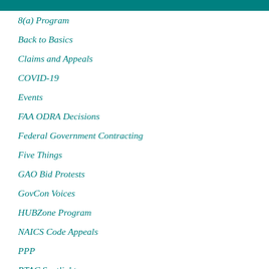8(a) Program
Back to Basics
Claims and Appeals
COVID-19
Events
FAA ODRA Decisions
Federal Government Contracting
Five Things
GAO Bid Protests
GovCon Voices
HUBZone Program
NAICS Code Appeals
PPP
PTAC Spotlight
Reports